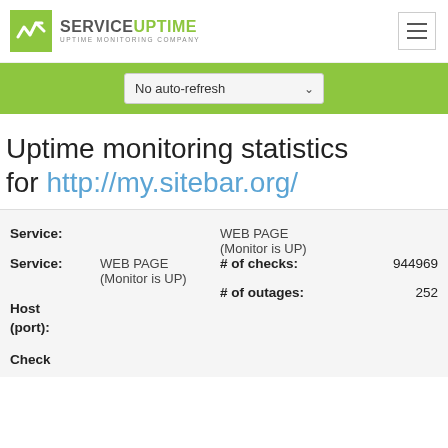[Figure (logo): ServiceUptime logo with green icon and text 'SERVICE UPTIME MONITORING COMPANY']
No auto-refresh (dropdown)
Uptime monitoring statistics for http://my.sitebar.org/
| Field | Value | Metric | Count |
| --- | --- | --- | --- |
| Service: | WEB PAGE
(Monitor is UP) | # of checks: | 944969 |
| Host (port): |  | # of outages: | 252 |
| Check |  |  |  |